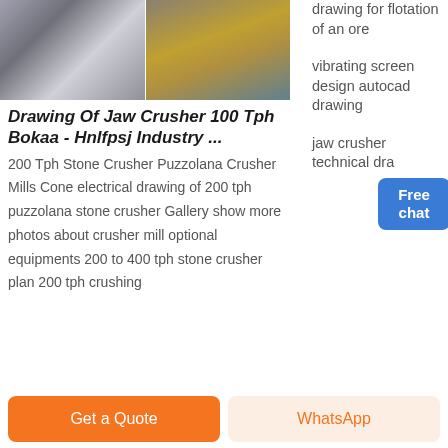[Figure (photo): Two industrial images side by side: left shows a stone crusher/mining facility with dust and machinery, right shows a large yellow crane or construction equipment against a cloudy sky.]
Drawing Of Jaw Crusher 100 Tph Bokaa - Hnlfpsj Industry ...
200 Tph Stone Crusher Puzzolana Crusher Mills Cone electrical drawing of 200 tph puzzolana stone crusher Gallery show more photos about crusher mill optional equipments 200 to 400 tph stone crusher plan 200 tph crushing
drawing for flotation of an ore
vibrating screen design autocad drawing
jaw crusher technical dra
Get a Quote
WhatsApp